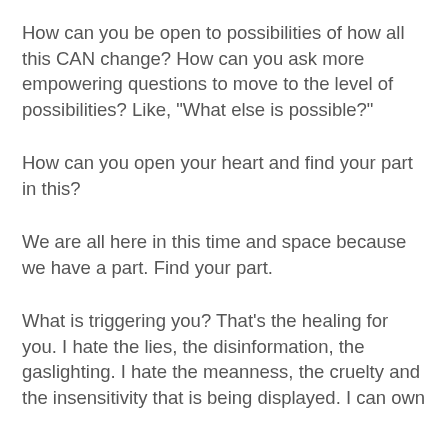How can you be open to possibilities of how all this CAN change? How can you ask more empowering questions to move to the level of possibilities? Like, "What else is possible?"
How can you open your heart and find your part in this?
We are all here in this time and space because we have a part. Find your part.
What is triggering you? That's the healing for you. I hate the lies, the disinformation, the gaslighting. I hate the meanness, the cruelty and the insensitivity that is being displayed. I can own